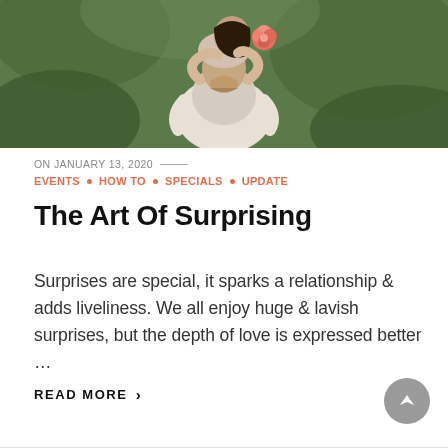[Figure (photo): A couple outdoors, man giving woman a piggyback ride; woman holds a pink/red flower, both smiling, green foliage background.]
ON JANUARY 13, 2020 —
EVENTS • HOW TO • SPECIALS • UPDATE
The Art Of Surprising
Surprises are special, it sparks a relationship & adds liveliness. We all enjoy huge & lavish surprises, but the depth of love is expressed better …
READ MORE ›